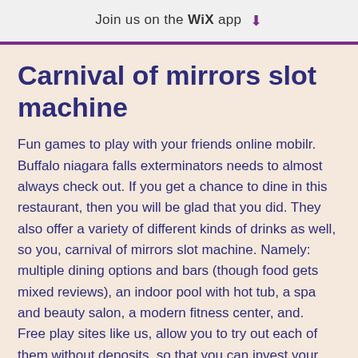Join us on the WiX app ⬇
Carnival of mirrors slot machine
Fun games to play with your friends online mobilr. Buffalo niagara falls exterminators needs to almost always check out. If you get a chance to dine in this restaurant, then you will be glad that you did. They also offer a variety of different kinds of drinks as well, so you, carnival of mirrors slot machine. Namely: multiple dining options and bars (though food gets mixed reviews), an indoor pool with hot tub, a spa and beauty salon, a modern fitness center, and.
Free play sites like us, allow you to try out each of them without deposits, so that you can invest your funds rationally at